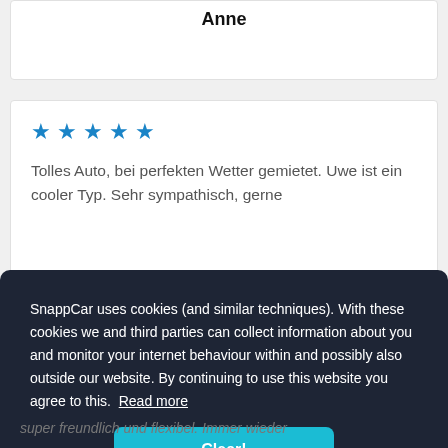Anne
★★★★★
Tolles Auto, bei perfekten Wetter gemietet. Uwe ist ein cooler Typ. Sehr sympathisch, gerne
SnappCar uses cookies (and similar techniques). With these cookies we and third parties can collect information about you and monitor your internet behaviour within and possibly also outside our website. By continuing to use this website you agree to this. Read more
Clear!
super freundlich und flexibel. Immer wieder